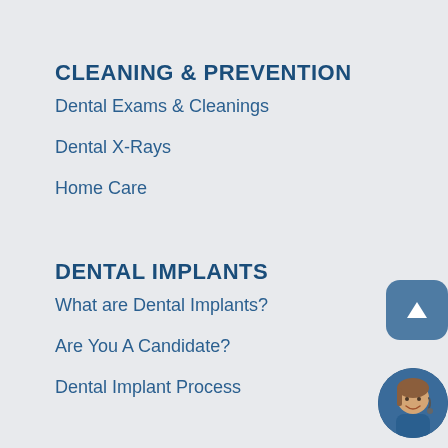CLEANING & PREVENTION
Dental Exams & Cleanings
Dental X-Rays
Home Care
DENTAL IMPLANTS
What are Dental Implants?
Are You A Candidate?
Dental Implant Process
[Figure (illustration): Scroll-to-top button: rounded square blue button with white upward triangle arrow]
[Figure (photo): Chat support avatar: circular photo of a smiling woman with headset]